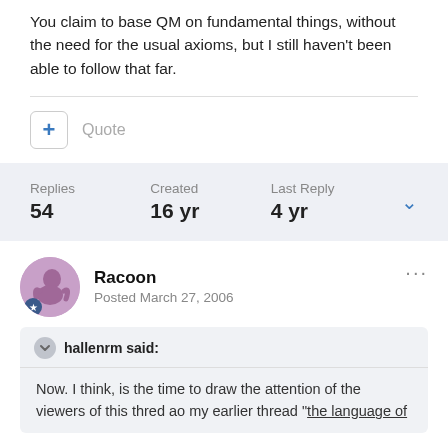You claim to base QM on fundamental things, without the need for the usual axioms, but I still haven't been able to follow that far.
Replies 54  Created 16 yr  Last Reply 4 yr
Racoon
Posted March 27, 2006
hallenrm said:
Now. I think, is the time to draw the attention of the viewers of this thred ao my earlier thread "the language of